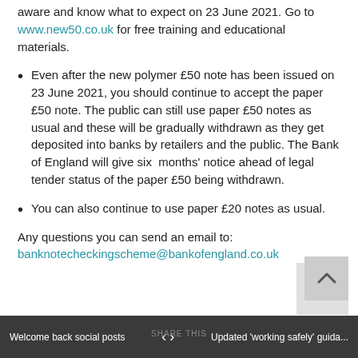aware and know what to expect on 23 June 2021. Go to www.new50.co.uk for free training and educational materials.
Even after the new polymer £50 note has been issued on 23 June 2021, you should continue to accept the paper £50 note. The public can still use paper £50 notes as usual and these will be gradually withdrawn as they get deposited into banks by retailers and the public. The Bank of England will give six months' notice ahead of legal tender status of the paper £50 being withdrawn.
You can also continue to use paper £20 notes as usual.
Any questions you can send an email to: banknotecheckingscheme@bankofengland.co.uk
Welcome back social posts   <   >   Updated 'working safely' guida...